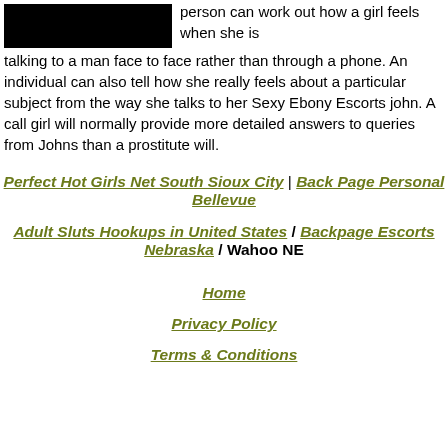[Figure (photo): Black rectangle image placeholder in top-left area]
person can work out how a girl feels when she is talking to a man face to face rather than through a phone. An individual can also tell how she really feels about a particular subject from the way she talks to her Sexy Ebony Escorts john. A call girl will normally provide more detailed answers to queries from Johns than a prostitute will.
Perfect Hot Girls Net South Sioux City | Back Page Personal Bellevue
Adult Sluts Hookups in United States / Backpage Escorts Nebraska / Wahoo NE
Home
Privacy Policy
Terms & Conditions